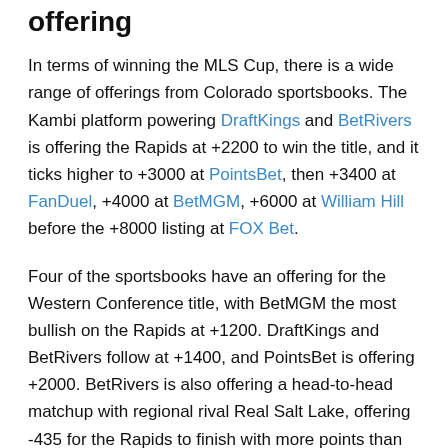...what the sportsbooks are offering
In terms of winning the MLS Cup, there is a wide range of offerings from Colorado sportsbooks. The Kambi platform powering DraftKings and BetRivers is offering the Rapids at +2200 to win the title, and it ticks higher to +3000 at PointsBet, then +3400 at FanDuel, +4000 at BetMGM, +6000 at William Hill before the +8000 listing at FOX Bet.
Four of the sportsbooks have an offering for the Western Conference title, with BetMGM the most bullish on the Rapids at +1200. DraftKings and BetRivers follow at +1400, and PointsBet is offering +2000. BetRivers is also offering a head-to-head matchup with regional rival Real Salt Lake, offering -435 for the Rapids to finish with more points than RSL.